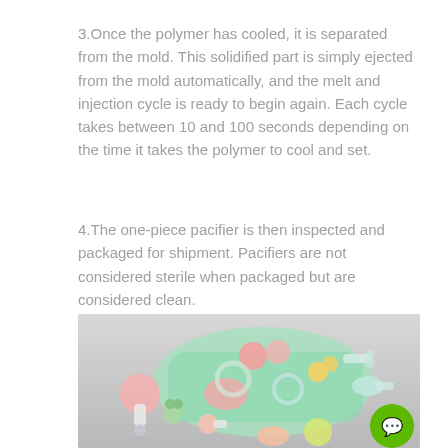3.Once the polymer has cooled, it is separated from the mold. This solidified part is simply ejected from the mold automatically, and the melt and injection cycle is ready to begin again. Each cycle takes between 10 and 100 seconds depending on the time it takes the polymer to cool and set.
4.The one-piece pacifier is then inspected and packaged for shipment. Pacifiers are not considered sterile when packaged but are considered clean.
[Figure (photo): Photo of colorful baby toys including pacifiers, rattles, and teethers arranged on a gray surface with a green tray]